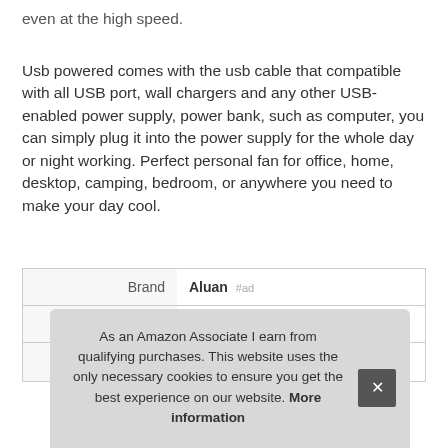even at the high speed.
Usb powered comes with the usb cable that compatible with all USB port, wall chargers and any other USB-enabled power supply, power bank, such as computer, you can simply plug it into the power supply for the whole day or night working. Perfect personal fan for office, home, desktop, camping, bedroom, or anywhere you need to make your day cool.
| Brand | Aluan #ad |
| Manufacturer | Aluan #ad |
| P |  |
As an Amazon Associate I earn from qualifying purchases. This website uses the only necessary cookies to ensure you get the best experience on our website. More information